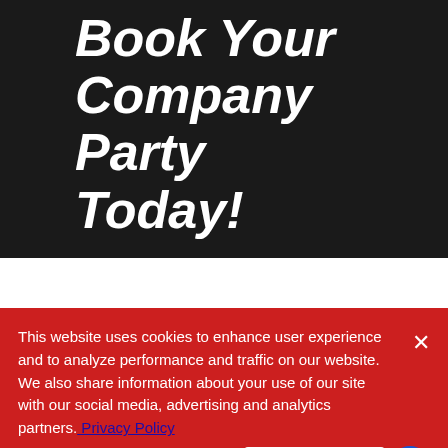Book Your Company Party Today!
START PLANNING
This website uses cookies to enhance user experience and to analyze performance and traffic on our website. We also share information about your use of our site with our social media, advertising and analytics partners. Privacy Policy
Do Not Sell My Personal Information
Accept Cookies